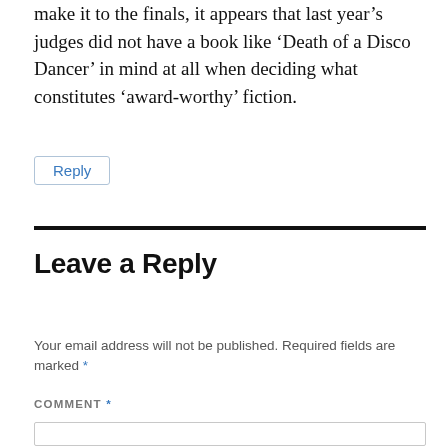make it to the finals, it appears that last year’s judges did not have a book like ‘Death of a Disco Dancer’ in mind at all when deciding what constitutes ‘award-worthy’ fiction.
Reply
Leave a Reply
Your email address will not be published. Required fields are marked *
COMMENT *